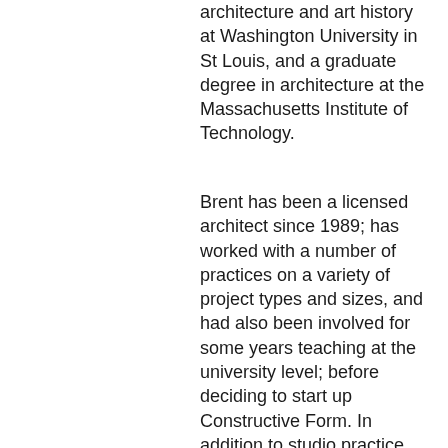architecture and art history at Washington University in St Louis, and a graduate degree in architecture at the Massachusetts Institute of Technology.
Brent has been a licensed architect since 1989; has worked with a number of practices on a variety of project types and sizes, and had also been involved for some years teaching at the university level; before deciding to start up Constructive Form. In addition to studio practice he also maintains connections to colleagues around the world through independent research interests.  He maintains an inventive approach and